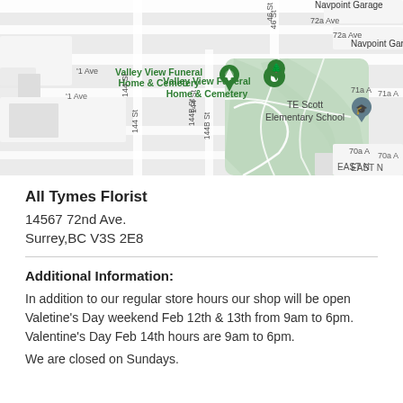[Figure (map): Google Maps screenshot showing area around 14567 72nd Ave, Surrey BC. Shows Valley View Funeral Home & Cemetery, TE Scott Elementary School, streets including 72 Ave, 72a Ave, 144 St, 144B St, 46 St, and Navpoint Garage. A green park area is visible in the center-right portion of the map.]
All Tymes Florist
14567 72nd Ave.
Surrey,BC V3S 2E8
Additional Information:
In addition to our regular store hours our shop will be open Valetine's Day weekend Feb 12th & 13th from 9am to 6pm. Valentine's Day Feb 14th hours are 9am to 6pm.
We are closed on Sundays.